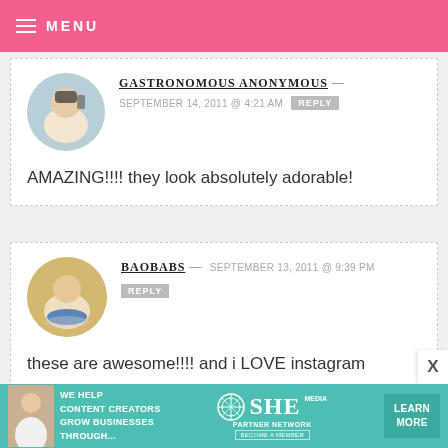MENU
GASTRONOMOUS ANONYMOUS — SEPTEMBER 14, 2011 @ 4:21 AM  REPLY
AMAZING!!!! they look absolutely adorable!
BAOBABS — SEPTEMBER 13, 2011 @ 9:39 PM  REPLY
these are awesome!!!! and i LOVE instagram
[Figure (infographic): SHE media partner network banner ad with text: WE HELP CONTENT CREATORS GROW BUSINESSES THROUGH... SHE PARTNER NETWORK BECOME A MEMBER LEARN MORE]